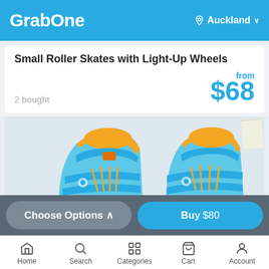GrabOne — Auckland
Small Roller Skates with Light-Up Wheels
2 bought
from $68
[Figure (photo): Two children's roller skates with light-up wheels, turquoise/blue color with orange accents and velcro straps, shown on a light background]
Choose Options ^
Buy $80
Home   Search   Categories   Cart   Account